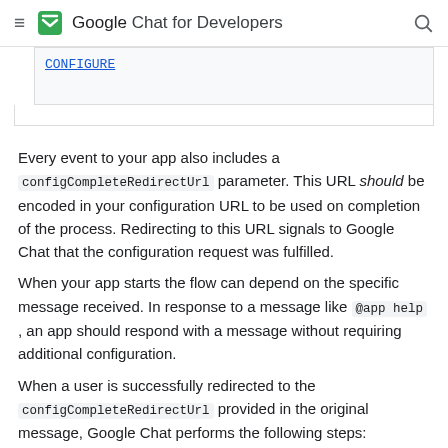Google Chat for Developers
[Figure (screenshot): Partial screenshot showing a CONFIGURE button link in a bordered box]
Every event to your app also includes a configCompleteRedirectUrl parameter. This URL should be encoded in your configuration URL to be used on completion of the process. Redirecting to this URL signals to Google Chat that the configuration request was fulfilled.
When your app starts the flow can depend on the specific message received. In response to a message like @app help , an app should respond with a message without requiring additional configuration.
When a user is successfully redirected to the configCompleteRedirectUrl provided in the original message, Google Chat performs the following steps: